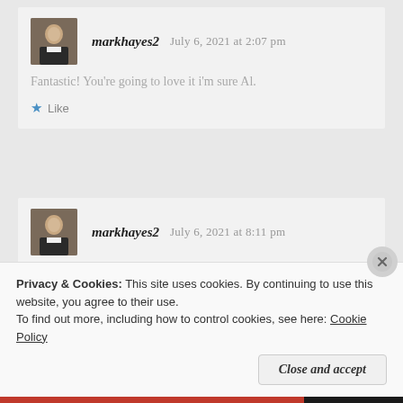markhayes2   July 6, 2021 at 2:07 pm
Fantastic! You're going to love it i'm sure Al.
★ Like
markhayes2   July 6, 2021 at 8:11 pm
Email sent.
Privacy & Cookies: This site uses cookies. By continuing to use this website, you agree to their use.
To find out more, including how to control cookies, see here: Cookie Policy
Close and accept